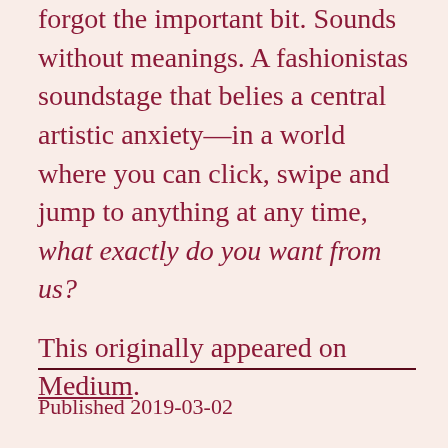forgot the important bit. Sounds without meanings. A fashionistas soundstage that belies a central artistic anxiety—in a world where you can click, swipe and jump to anything at any time, what exactly do you want from us?

This originally appeared on Medium.
Published 2019-03-02